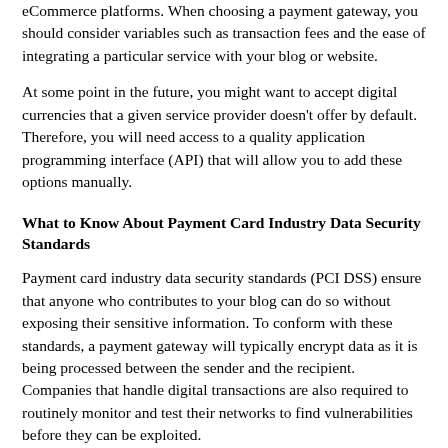eCommerce platforms. When choosing a payment gateway, you should consider variables such as transaction fees and the ease of integrating a particular service with your blog or website.
At some point in the future, you might want to accept digital currencies that a given service provider doesn't offer by default. Therefore, you will need access to a quality application programming interface (API) that will allow you to add these options manually.
What to Know About Payment Card Industry Data Security Standards
Payment card industry data security standards (PCI DSS) ensure that anyone who contributes to your blog can do so without exposing their sensitive information. To conform with these standards, a payment gateway will typically encrypt data as it is being processed between the sender and the recipient. Companies that handle digital transactions are also required to routinely monitor and test their networks to find vulnerabilities before they can be exploited.
Currently, there is no law demanding that you comply with these standards. However, failing to do so could make you liable for any damages that a reader or any other party experiences as a result of your